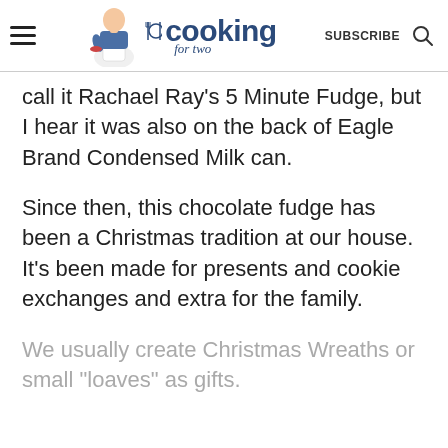cooking for two | SUBSCRIBE
call it Rachael Ray's 5 Minute Fudge, but I hear it was also on the back of Eagle Brand Condensed Milk can.
Since then, this chocolate fudge has been a Christmas tradition at our house. It's been made for presents and cookie exchanges and extra for the family.
We usually create Christmas Wreaths or small "loaves" as gifts.